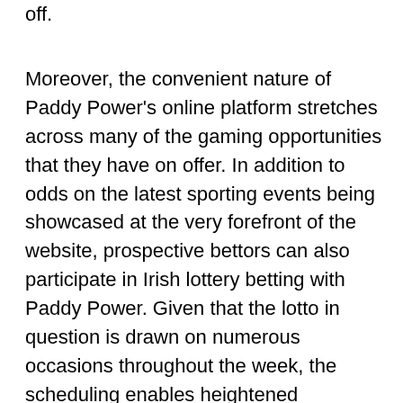off.
Moreover, the convenient nature of Paddy Power’s online platform stretches across many of the gaming opportunities that they have on offer. In addition to odds on the latest sporting events being showcased at the very forefront of the website, prospective bettors can also participate in Irish lottery betting with Paddy Power. Given that the lotto in question is drawn on numerous occasions throughout the week, the scheduling enables heightened selectivity among players. Furthermore, along with being able to choose between three draws, Paddy Power bettors can also modify the total amount of numbers that they wish to bet on, with five being the most available and offering the most lucrative odds.